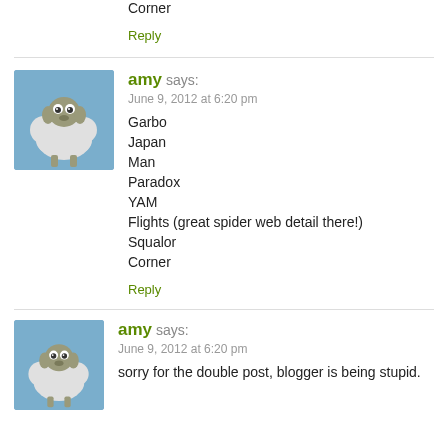Corner
Reply
amy says:
June 9, 2012 at 6:20 pm
Garbo
Japan
Man
Paradox
YAM
Flights (great spider web detail there!)
Squalor
Corner
Reply
amy says:
June 9, 2012 at 6:20 pm
sorry for the double post, blogger is being stupid.